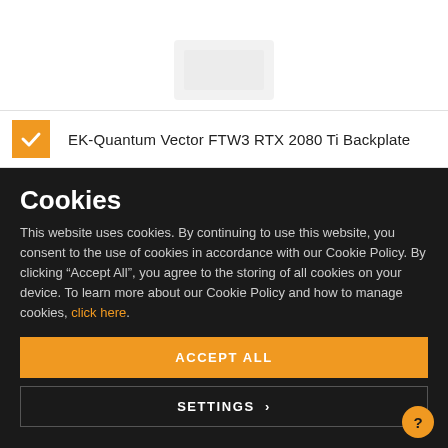[Figure (screenshot): Partial product image (cropped) at top of page showing a GPU backplate product on white background]
EK-Quantum Vector FTW3 RTX 2080 Ti Backplate
Cookies
This website uses cookies. By continuing to use this website, you consent to the use of cookies in accordance with our Cookie Policy. By clicking “Accept All”, you agree to the storing of all cookies on your device. To learn more about our Cookie Policy and how to manage cookies, click here.
ACCEPT ALL
SETTINGS ›